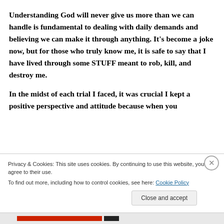Understanding God will never give us more than we can handle is fundamental to dealing with daily demands and believing we can make it through anything. It’s become a joke now, but for those who truly know me, it is safe to say that I have lived through some STUFF meant to rob, kill, and destroy me.
In the midst of each trial I faced, it was crucial I kept a positive perspective and attitude because when you …
Privacy & Cookies: This site uses cookies. By continuing to use this website, you agree to their use.
To find out more, including how to control cookies, see here: Cookie Policy